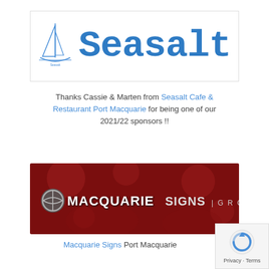[Figure (logo): Seasalt logo: sailboat icon on left, large blue typewriter-font text 'Seasalt' on right, inside a white bordered box]
Thanks Cassie & Marten from Seasalt Cafe & Restaurant Port Macquarie for being one of our 2021/22 sponsors !!
[Figure (logo): Macquarie Signs Group banner: dark red background with bokeh circles, silver/chrome 3D text 'MACQUARIE SIGNS | GROUP' with a globe/circle logo on left]
Macquarie Signs Port Macquarie